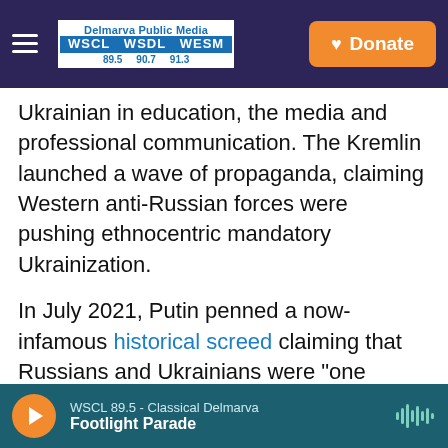Delmarva Public Media WSCL WSDL WESM 89.5 90.7 91.3 | Donate
Ukrainian in education, the media and professional communication. The Kremlin launched a wave of propaganda, claiming Western anti-Russian forces were pushing ethnocentric mandatory Ukrainization.
In July 2021, Putin penned a now-infamous historical screed claiming that Russians and Ukrainians were "one people — a single whole," bound by the shared language and culture of the Russian World (Russkiy Mir). With the war, the concept has taken on a sinister meaning and is loathed in Ukraine.
WSCL 89.5 - Classical Delmarva | Footlight Parade